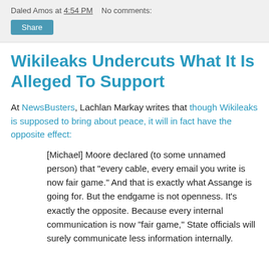Daled Amos at 4:54 PM   No comments:
Share
Wikileaks Undercuts What It Is Alleged To Support
At NewsBusters, Lachlan Markay writes that though Wikileaks is supposed to bring about peace, it will in fact have the opposite effect:
[Michael] Moore declared (to some unnamed person) that "every cable, every email you write is now fair game." And that is exactly what Assange is going for. But the endgame is not openness. It's exactly the opposite. Because every internal communication is now "fair game," State officials will surely communicate less information internally.